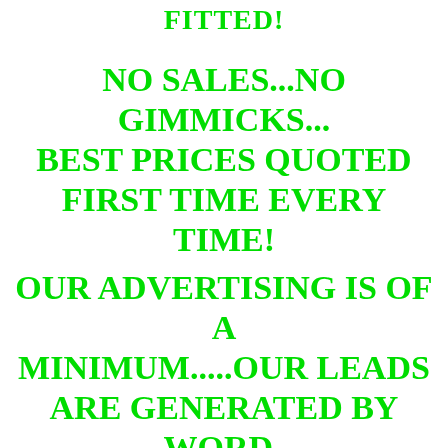FITTED!
NO SALES...NO GIMMICKS... BEST PRICES QUOTED FIRST TIME EVERY TIME!
OUR ADVERTISING IS OF A MINIMUM.....OUR LEADS ARE GENERATED BY WORD-OF-MOUTH THROUGH